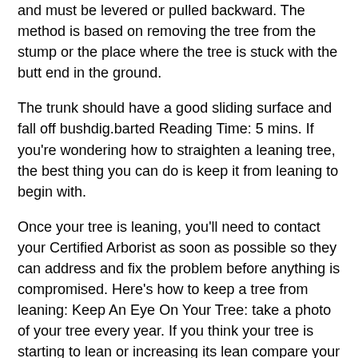and must be levered or pulled backward. The method is based on removing the tree from the stump or the place where the tree is stuck with the butt end in the ground.
The trunk should have a good sliding surface and fall off bushdig.barted Reading Time: 5 mins. If you're wondering how to straighten a leaning tree, the best thing you can do is keep it from leaning to begin with.
Once your tree is leaning, you'll need to contact your Certified Arborist as soon as possible so they can address and fix the problem before anything is compromised. Here's how to keep a tree from leaning: Keep An Eye On Your Tree: take a photo of your tree every year. If you think your tree is starting to lean or increasing its lean compare your tree's Estimated Reading Time: 3 mins.
Aug 13, If the tree has developed a lean after a storm it means the whole structure including the root system is not sound and will most likely need to be removed. I would contact your local tree surgeon for a second opinion as they will be able to tell you whether the tree can be saved or bushdig.barted Reading Time: 7